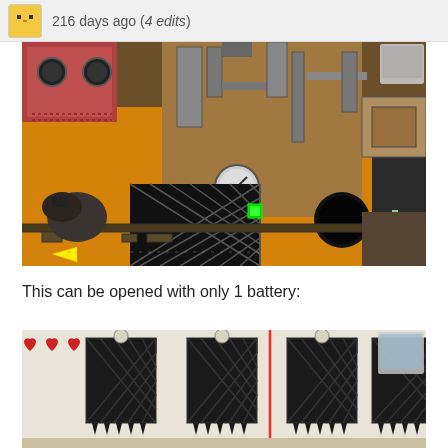216 days ago (4 edits)
[Figure (screenshot): Video game screenshot showing a steampunk/industrial platformer level with pipes, machinery, orange/brown palette, a green glowing item on a dark lattice structure, and a yellow arrow indicator]
This can be opened with only 1 battery:
[Figure (screenshot): Video game screenshot showing dark lattice/gate structures, three red hearts in the upper left, a vertical red line (laser), and some circular elements, on a light background]